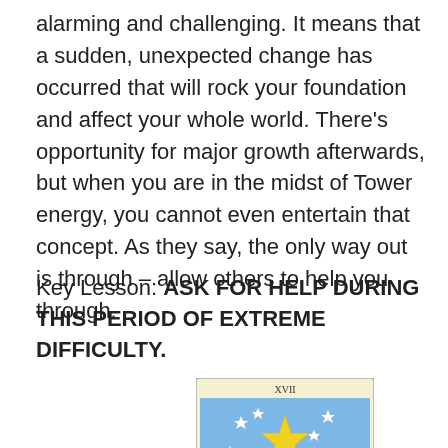alarming and challenging. It means that a sudden, unexpected change has occurred that will rock your foundation and affect your whole world. There's opportunity for major growth afterwards, but when you are in the midst of Tower energy, you cannot even entertain that concept. As they say, the only way out is through – allow others to help you through.
Key Lesson: ASK FOR HELP DURING THIS PERIOD OF EXTREME DIFFICULTY.
[Figure (illustration): The Star tarot card (XVII) showing a nude figure kneeling by water under a large yellow eight-pointed star surrounded by seven smaller white stars on a blue sky background, with green landscape.]